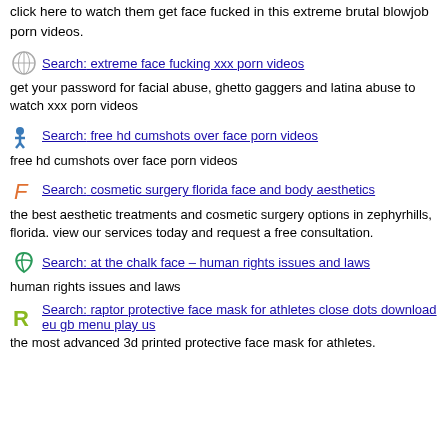click here to watch them get face fucked in this extreme brutal blowjob porn videos.
Search: extreme face fucking xxx porn videos
get your password for facial abuse, ghetto gaggers and latina abuse to watch xxx porn videos
Search: free hd cumshots over face porn videos
free hd cumshots over face porn videos
Search: cosmetic surgery florida face and body aesthetics
the best aesthetic treatments and cosmetic surgery options in zephyrhills, florida. view our services today and request a free consultation.
Search: at the chalk face – human rights issues and laws
human rights issues and laws
Search: raptor protective face mask for athletes close dots download eu gb menu play us
the most advanced 3d printed protective face mask for athletes.